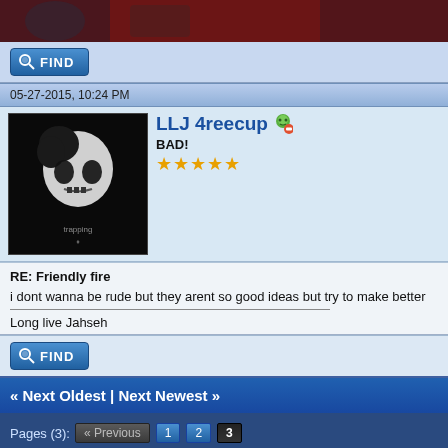[Figure (photo): Banner image with game characters on dark red background]
FIND
05-27-2015, 10:24 PM
[Figure (photo): User avatar: skull with dark hair on black background]
LLJ 4reecup
BAD!
★★★★★
RE: Friendly fire
i dont wanna be rude but they arent so good ideas but try to make better
Long live Jahseh
FIND
« Next Oldest | Next Newest »
Pages (3): « Previous 1 2 3
Send this Thread to a Friend
Subscribe to this thread